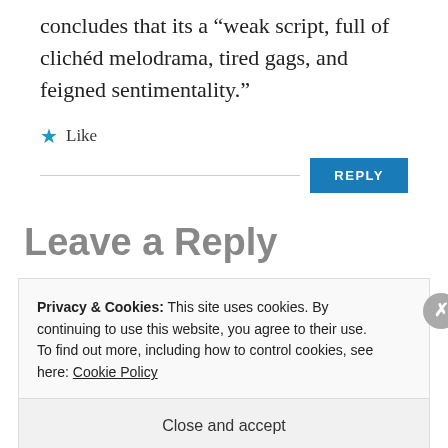concludes that its a “weak script, full of clichéd melodrama, tired gags, and feigned sentimentality.”
★ Like
REPLY
Leave a Reply
Privacy & Cookies: This site uses cookies. By continuing to use this website, you agree to their use.
To find out more, including how to control cookies, see here: Cookie Policy
Close and accept